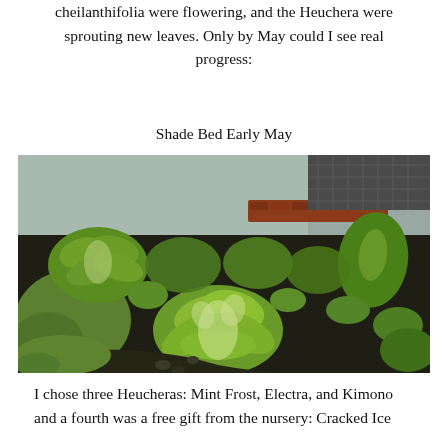cheilanthifolia were flowering, and the Heuchera were sprouting new leaves. Only by May could I see real progress:
Shade Bed Early May
[Figure (photo): Photograph of a shade garden bed in early May showing hostas with large green and white variegated leaves in the foreground, various other plants in the background, dark soil, a low brick border, and a paved area to the right.]
I chose three Heucheras: Mint Frost, Electra, and Kimono and a fourth was a free gift from the nursery: Cracked Ice